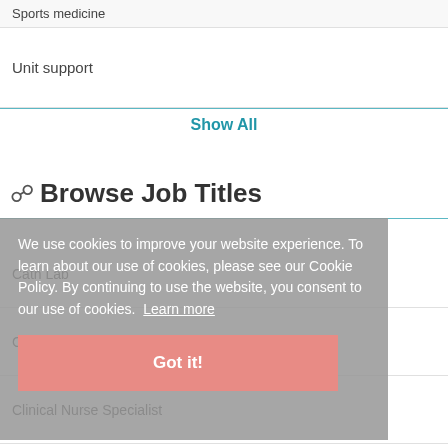Sports medicine
Unit support
Show All
Browse Job Titles
We use cookies to improve your website experience. To learn about our use of cookies, please see our Cookie Policy. By continuing to use the website, you consent to our use of cookies. Learn more
Got it!
Cath Lab
Certified Nursing Assistant
Clinical Nurse Specialist